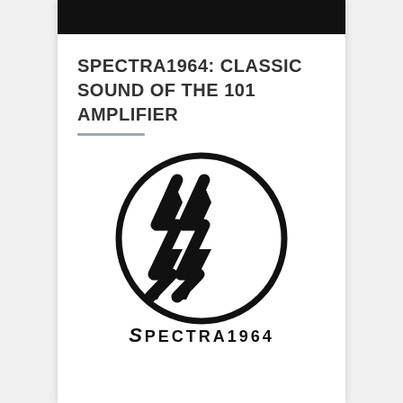[Figure (other): Black header bar at top of page]
SPECTRA1964: CLASSIC SOUND OF THE 101 AMPLIFIER
[Figure (logo): Spectra1964 circular logo with double lightning bolt SS symbol and SPECTRA1964 text below]